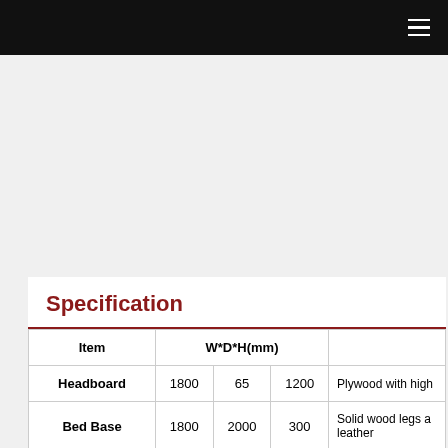Specification
| Item | W*D*H(mm) |  |  |  |
| --- | --- | --- | --- | --- |
| Headboard | 1800 | 65 | 1200 | Plywood with high... |
| Bed Base | 1800 | 2000 | 300 | Solid wood legs a... leather |
| Nightstand | 550 | 450 | 550 | Plywood with woo... |